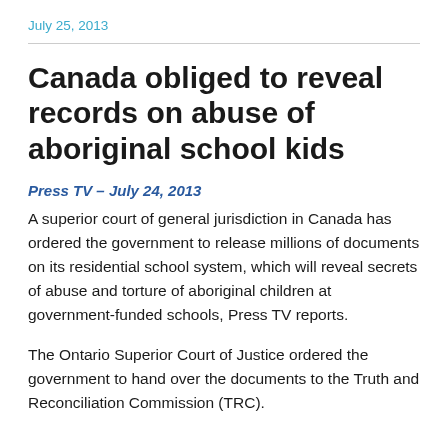July 25, 2013
Canada obliged to reveal records on abuse of aboriginal school kids
Press TV – July 24, 2013
A superior court of general jurisdiction in Canada has ordered the government to release millions of documents on its residential school system, which will reveal secrets of abuse and torture of aboriginal children at government-funded schools, Press TV reports.
The Ontario Superior Court of Justice ordered the government to hand over the documents to the Truth and Reconciliation Commission (TRC).